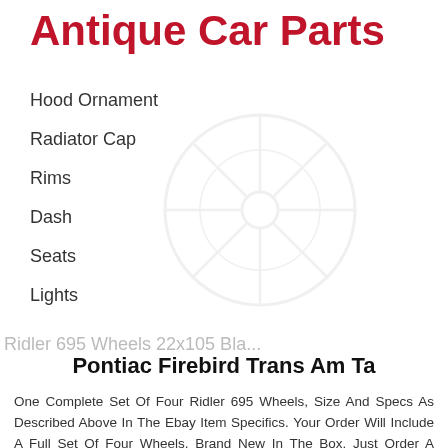Antique Car Parts
Hood Ornament
Radiator Cap
Rims
Dash
Seats
Lights
[Figure (illustration): Faint watermark-style circular emblem or wheel logo in the background]
Pontiac Firebird Trans Am Ta
One Complete Set Of Four Ridler 695 Wheels, Size And Specs As Described Above In The Ebay Item Specifics. Your Order Will Include A Full Set Of Four Wheels, Brand New In The Box. Just Order A Quantity Of "1" To Get The Complete